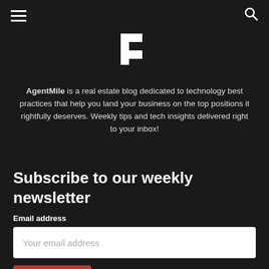hamburger menu | search icon
[Figure (logo): AgentMile logo: white letter P/flag shape on dark background]
AgentMile is a real estate blog dedicated to technology best practices that help you land your business on the top positions it rightfully deserves. Weekly tips and tech insights delivered right to your inbox!
Subscribe to our weekly newsletter
Email address
Your email address
Subscribe